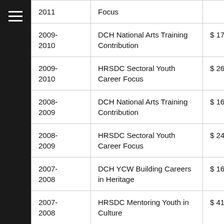| Year | Program | Amount |
| --- | --- | --- |
| 2011 | Focus |  |
| 2009-2010 | DCH National Arts Training Contribution | $174,49… |
| 2009-2010 | HRSDC Sectoral Youth Career Focus | $260,6… |
| 2008-2009 | DCH National Arts Training Contribution | $164,47… |
| 2008-2009 | HRSDC Sectoral Youth Career Focus | $243,2… |
| 2007-2008 | DCH YCW Building Careers in Heritage | $168,81… |
| 2007-2008 | HRSDC Mentoring Youth in Culture | $414,55… |